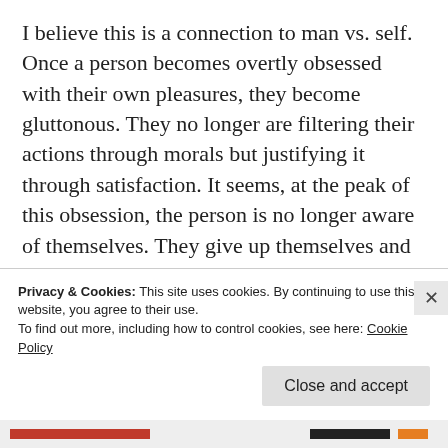I believe this is a connection to man vs. self. Once a person becomes overtly obsessed with their own pleasures, they become gluttonous. They no longer are filtering their actions through morals but justifying it through satisfaction. It seems, at the peak of this obsession, the person is no longer aware of themselves. They give up themselves and their power to attain something else, whether that be a feeling, person, or thing. The thorn in this situation could be an expression of morality, the
Privacy & Cookies: This site uses cookies. By continuing to use this website, you agree to their use.
To find out more, including how to control cookies, see here: Cookie Policy
Close and accept